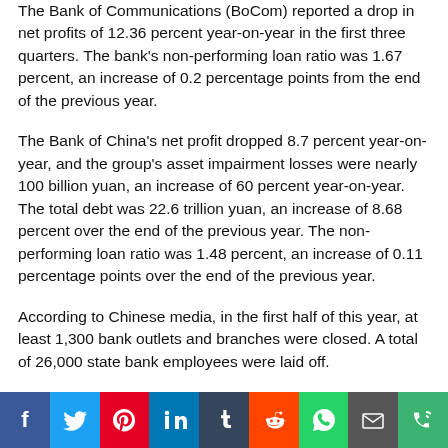The Bank of Communications (BoCom) reported a drop in net profits of 12.36 percent year-on-year in the first three quarters. The bank's non-performing loan ratio was 1.67 percent, an increase of 0.2 percentage points from the end of the previous year.
The Bank of China's net profit dropped 8.7 percent year-on-year, and the group's asset impairment losses were nearly 100 billion yuan, an increase of 60 percent year-on-year. The total debt was 22.6 trillion yuan, an increase of 8.68 percent over the end of the previous year. The non-performing loan ratio was 1.48 percent, an increase of 0.11 percentage points over the end of the previous year.
According to Chinese media, in the first half of this year, at least 1,300 bank outlets and branches were closed. A total of 26,000 state bank employees were laid off.
China's Securities Daily newspaper quoted Pan Helin, a professor from Zhongnan University of Economics and Law. He stated that, although only a small portion of the publicly listed banks disclosed their third-quarter financial reports, they are the best performers in the industry and their profitability is stronger than the unlisted banks. Among the large number of unlisted banks, based on the financial reports of nearly